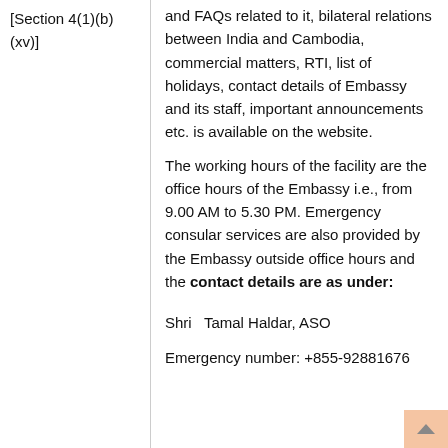[Section 4(1)(b) (xv)]
and FAQs related to it, bilateral relations between India and Cambodia, commercial matters, RTI, list of holidays, contact details of Embassy and its staff, important announcements etc. is available on the website.
The working hours of the facility are the office hours of the Embassy i.e., from 9.00 AM to 5.30 PM. Emergency consular services are also provided by the Embassy outside office hours and the contact details are as under:
Shri  Tamal Haldar, ASO
Emergency number: +855-92881676